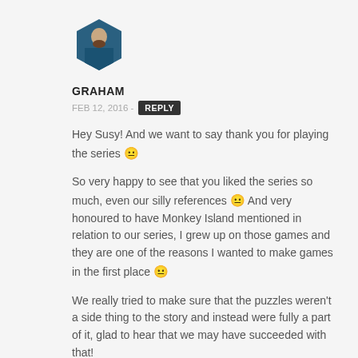[Figure (photo): Hexagon-shaped avatar photo of Graham, a man in a blue jacket]
GRAHAM
FEB 12, 2016 - REPLY
Hey Susy! And we want to say thank you for playing the series 😐
So very happy to see that you liked the series so much, even our silly references 😐 And very honoured to have Monkey Island mentioned in relation to our series, I grew up on those games and they are one of the reasons I wanted to make games in the first place 😐
We really tried to make sure that the puzzles weren't a side thing to the story and instead were fully a part of it, glad to hear that we may have succeeded with that!
If someone takes the time to